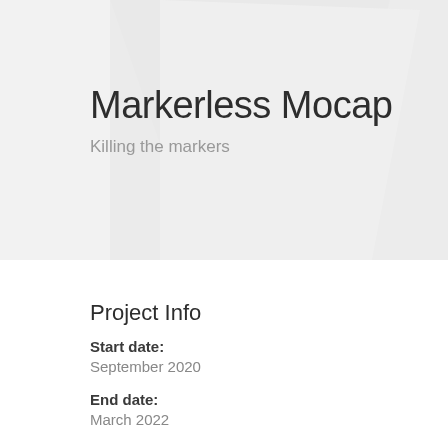[Figure (illustration): Light grey geometric background shape — two overlapping triangular/polygonal forms creating a decorative hero banner area]
Markerless Mocap
Killing the markers
Project Info
Start date:
September 2020
End date:
March 2022